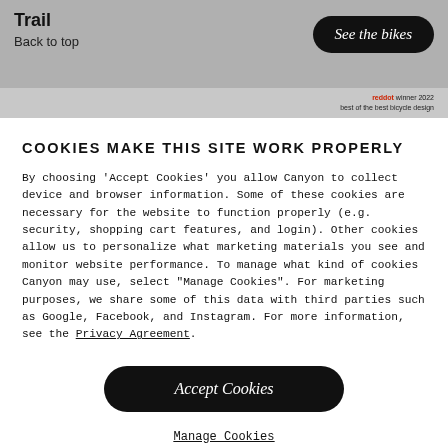Trail
Back to top
See the bikes
reddot winner 2022
best of the best bicycle design
COOKIES MAKE THIS SITE WORK PROPERLY
By choosing 'Accept Cookies' you allow Canyon to collect device and browser information. Some of these cookies are necessary for the website to function properly (e.g. security, shopping cart features, and login). Other cookies allow us to personalize what marketing materials you see and monitor website performance. To manage what kind of cookies Canyon may use, select "Manage Cookies". For marketing purposes, we share some of this data with third parties such as Google, Facebook, and Instagram. For more information, see the Privacy Agreement.
Accept Cookies
Manage Cookies